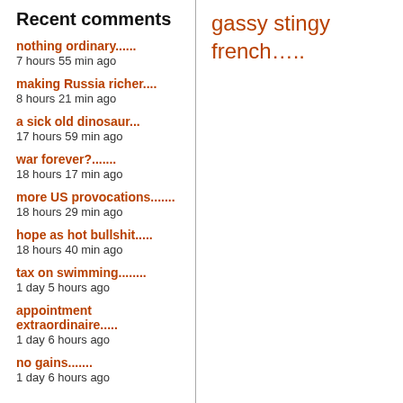Recent comments
nothing ordinary......
7 hours 55 min ago
making Russia richer....
8 hours 21 min ago
a sick old dinosaur...
17 hours 59 min ago
war forever?.......
18 hours 17 min ago
more US provocations.......
18 hours 29 min ago
hope as hot bullshit.....
18 hours 40 min ago
tax on swimming........
1 day 5 hours ago
appointment extraordinaire.....
1 day 6 hours ago
no gains.......
1 day 6 hours ago
gassy stingy french…..